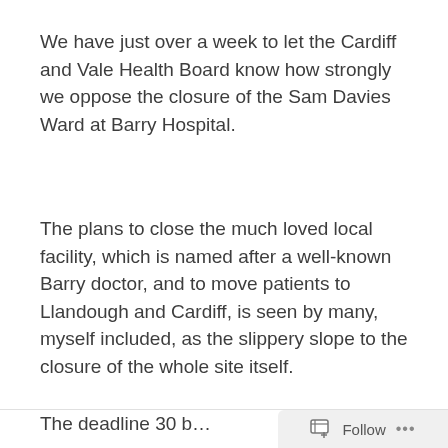We have just over a week to let the Cardiff and Vale Health Board know how strongly we oppose the closure of the Sam Davies Ward at Barry Hospital.
The plans to close the much loved local facility, which is named after a well-known Barry doctor, and to move patients to Llandough and Cardiff, is seen by many, myself included, as the slippery slope to the closure of the whole site itself.
The deadline 30 b...